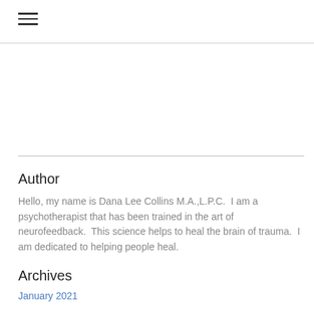☰
Author
Hello, my name is Dana Lee Collins M.A.,L.P.C.  I am a psychotherapist that has been trained in the art of neurofeedback.  This science helps to heal the brain of trauma.  I am dedicated to helping people heal.
Archives
January 2021